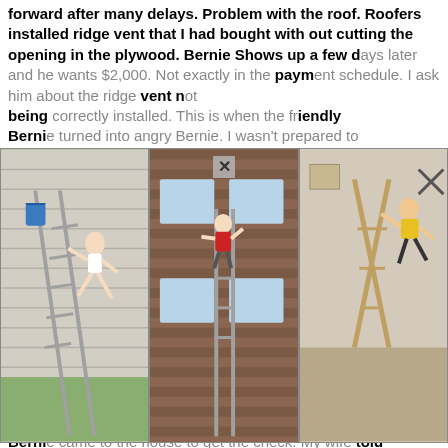forward after many delays. Problem with the roof. Roofers installed ridge vent that I had bought with out cutting the opening in the plywood. Bernie Shows up a few days later and he wants $2,000. Not exactly in the payment schedule. I ask him about the ridge vent not being correctly installed. This is when the friendly Bernie turned into angry Bernie. I wasn't prepared to give him $2,000. His crew did come back and they installed the ceiling on the porch. It was poorly installed. It was extremely wavy. He showed up the next week with his 14... ...ing needs... ...on the back... ...t of his s... ...saying... ...nd I call hi... ...Bernie was c... ...ved up, A... ...and took i... ...e once... ...me to my wife and have her give Bernie a check for $5,000. Bernie came to the house to get the check. My wife told me of his crude sexual innuendo that made her feel uncomfortable. Very unprofessional to say the least, more like sexual harassment. That was the last I saw of
[Figure (photo): Three collaged photos of people falling off or near ladders against house exteriors, overlaid on top of the complaint text. Left photo: person in white bikini flying off a ladder against a grey siding house with a blue bucket. Center photo: person in red top clinging to a brick house wall with ladders. Right photo: person in yellow shirt falling near an indoor ladder setup.]